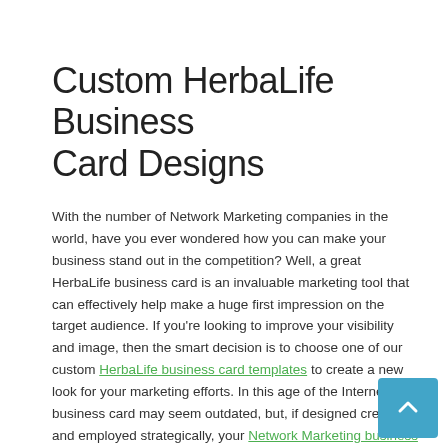Custom HerbaLife Business Card Designs
With the number of Network Marketing companies in the world, have you ever wondered how you can make your business stand out in the competition? Well, a great HerbaLife business card is an invaluable marketing tool that can effectively help make a huge first impression on the target audience. If you're looking to improve your visibility and image, then the smart decision is to choose one of our custom HerbaLife business card templates to create a new look for your marketing efforts. In this age of the Internet, a business card may seem outdated, but, if designed creatively and employed strategically, your Network Marketing business card can prove to be the best marketing tool that can be more memorable and effective than a cleverly worded email or a splashy website.